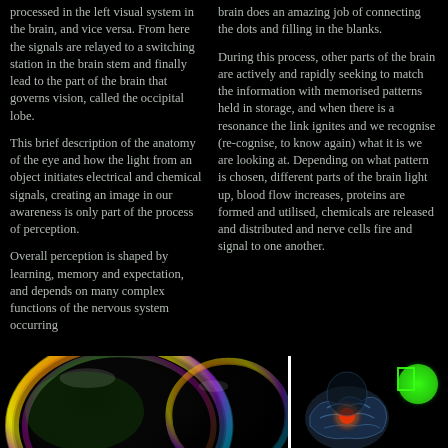processed in the left visual system in the brain, and vice versa. From here the signals are relayed to a switching station in the brain stem and finally lead to the part of the brain that governs vision, called the occipital lobe.
This brief description of the anatomy of the eye and how the light from an object initiates electrical and chemical signals, creating an image in our awareness is only part of the process of perception.
Overall perception is shaped by learning, memory and expectation, and depends on many complex functions of the nervous system occurring
brain does an amazing job of connecting the dots and filling in the blanks.
During this process, other parts of the brain are actively and rapidly seeking to match the information with memorised patterns held in storage, and when there is a resonance the link ignites and we recognise (re-cognise, to know again) what it is we are looking at. Depending on what pattern is chosen, different parts of the brain light up, blood flow increases, proteins are formed and utilised, chemicals are released and distributed and nerve cells fire and signal to one another.
[Figure (illustration): Colorful iridescent soap bubbles on a black background]
[Figure (illustration): Medical illustration of a human brain with glowing red areas, next to a green glowing circle, on a black background]